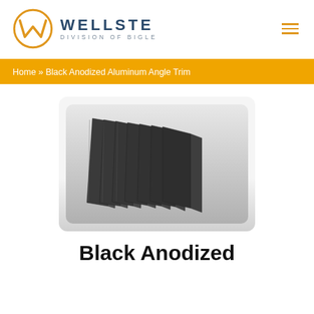[Figure (logo): Wellste Division of Bigle logo — orange circle with W mark, bold blue WELLSTE text, subtitle DIVISION OF BIGLE]
Home » Black Anodized Aluminum Angle Trim
[Figure (photo): Multiple black anodized aluminum angle trim pieces fanned out on a light grey gradient background]
Black Anodized